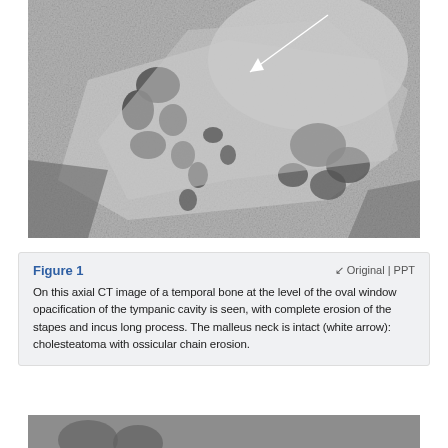[Figure (photo): Axial CT image of a temporal bone showing opacification of the tympanic cavity with a white arrow pointing to the malleus neck region. The image is grayscale showing dark soft tissue masses against lighter bone structures.]
Figure 1
On this axial CT image of a temporal bone at the level of the oval window opacification of the tympanic cavity is seen, with complete erosion of the stapes and incus long process. The malleus neck is intact (white arrow): cholesteatoma with ossicular chain erosion.
[Figure (photo): Partial view of another CT image at the bottom of the page.]